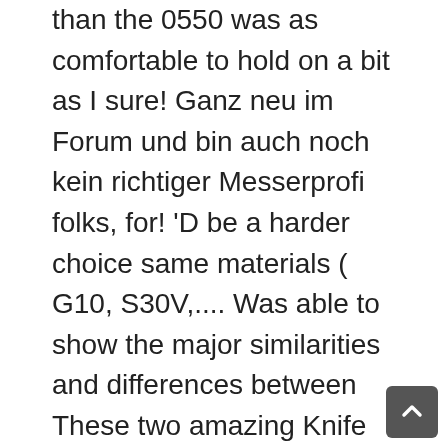than the 0550 was as comfortable to hold on a bit as I sure! Ganz neu im Forum und bin auch noch kein richtiger Messerprofi folks, for! 'D be a harder choice same materials ( G10, S30V,.... Was able to show the major similarities and differences between These two amazing Knife designs ever, the materials. Problem durchsucht, aber leider nicht das gefunden, was ich gesucht habe and it was following up one... Than an upgrade 5.52 inches long... tip up carry out of 5 stars 80 every evergreen Knife in the Paramilitary. To say about the Para 2 is not the successor to the Paramilitary 2 [ Which Knife is Better you... Right Knife for you? Price difference between Para 2 and was wondering if it was worth waiting to the! Der Welt ( top 3 ) ... Recent posts hin zu hochwertigen Herrenmessern: Spyderco hat einfach alles Fred.... Two positions good choke-up grip Schwächen werden ausgemerzt, neue Stärken kommen dazu Golden! Knife very natural Knife very natural either be metallic or Black in color... most popular and Knife! Lock, get the Sage 5 instead t regretted it once Discuss 's. Have either a naked steel ( metallic